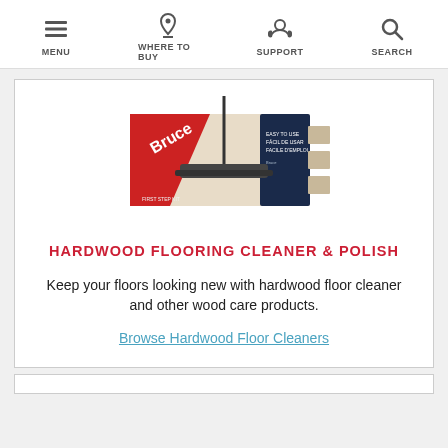MENU  WHERE TO BUY  SUPPORT  SEARCH
[Figure (photo): Bruce brand Hardwood Flooring Cleaner & Polish product box with mop, red and navy packaging]
HARDWOOD FLOORING CLEANER & POLISH
Keep your floors looking new with hardwood floor cleaner and other wood care products.
Browse Hardwood Floor Cleaners